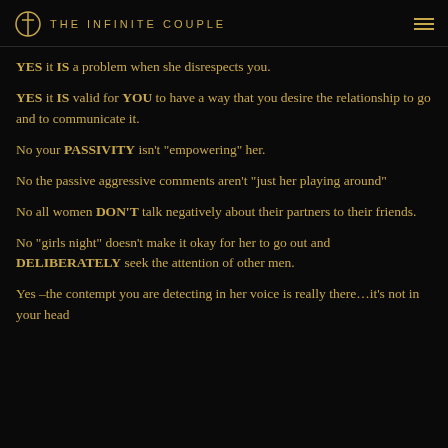THE INFINITE COUPLE
YES it IS a problem when she disrespects you.
YES it IS valid for YOU to have a way that you desire the relationship to go and to communicate it.
No your PASSIVITY isn't “empowering” her.
No the passive aggressive comments aren’t “just her playing around”
No all women DON’T talk negatively about their partners to their friends.
No “girls night” doesn’t make it okay for her to go out and DELIBERATELY seek the attention of other men.
Yes –the contempt you are detecting in her voice is really there…it’s not in your head